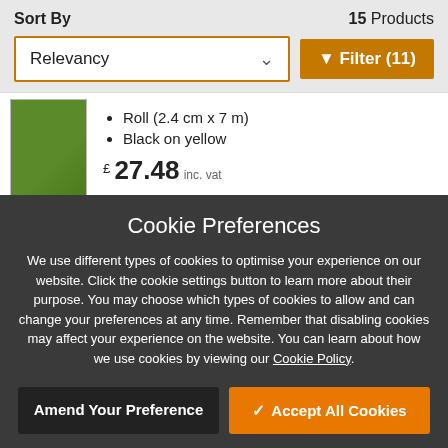Sort By   15 Products
Relevancy   ∨   ▼ Filter (11)
Roll (2.4 cm x 7 m)
Black on yellow
£ 27.48 inc. vat
Cookie Preferences
We use different types of cookies to optimise your experience on our website. Click the cookie settings button to learn more about their purpose. You may choose which types of cookies to allow and can change your preferences at any time. Remember that disabling cookies may affect your experience on the website. You can learn about how we use cookies by viewing our Cookie Policy.
Amend Your Preference
✓ Accept All Cookies